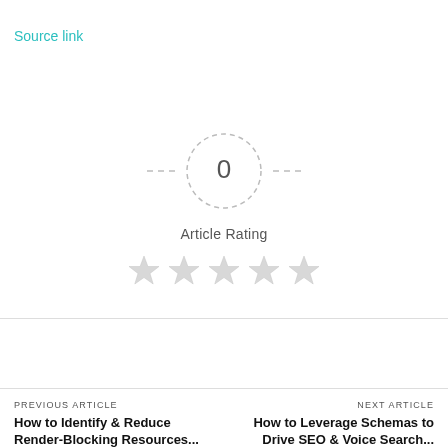Source link
[Figure (other): Article rating widget: dashed circle showing '0' in center with dashed horizontal lines on each side, label 'Article Rating' below, and five empty grey stars beneath]
Article Rating
PREVIOUS ARTICLE
How to Identify & Reduce Render-Blocking Resources...
NEXT ARTICLE
How to Leverage Schemas to Drive SEO & Voice Search...